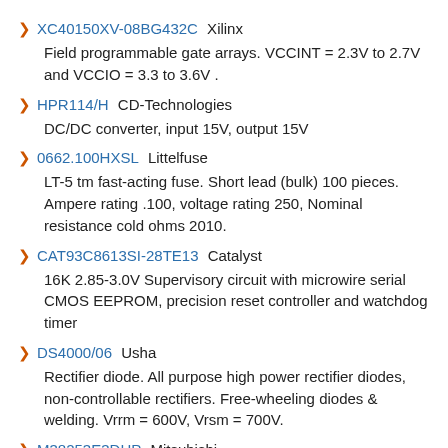XC40150XV-08BG432C Xilinx
Field programmable gate arrays. VCCINT = 2.3V to 2.7V and VCCIO = 3.3 to 3.6V .
HPR114/H CD-Technologies
DC/DC converter, input 15V, output 15V
0662.100HXSL Littelfuse
LT-5 tm fast-acting fuse. Short lead (bulk) 100 pieces. Ampere rating .100, voltage rating 250, Nominal resistance cold ohms 2010.
CAT93C8613SI-28TE13 Catalyst
16K 2.85-3.0V Supervisory circuit with microwire serial CMOS EEPROM, precision reset controller and watchdog timer
DS4000/06 Usha
Rectifier diode. All purpose high power rectifier diodes, non-controllable rectifiers. Free-wheeling diodes & welding. Vrrm = 600V, Vrsm = 700V.
M38253E3DHP Mitsubishi